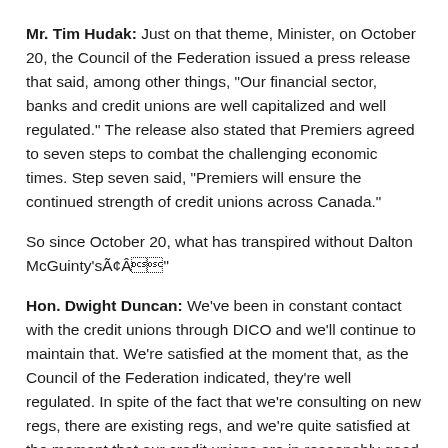Mr. Tim Hudak: Just on that theme, Minister, on October 20, the Council of the Federation issued a press release that said, among other things, "Our financial sector, banks and credit unions are well capitalized and well regulated." The release also stated that Premiers agreed to seven steps to combat the challenging economic times. Step seven said, "Premiers will ensure the continued strength of credit unions across Canada."
So since October 20, what has transpired without Dalton McGuinty'sÃ¢Â"
Hon. Dwight Duncan: We've been in constant contact with the credit unions through DICO and we'll continue to maintain that. We're satisfied at the moment that, as the Council of the Federation indicated, they're well regulated. In spite of the fact that we're consulting on new regs, there are existing regs, and we're quite satisfied at the moment that our credit unions are in reasonably good shape.